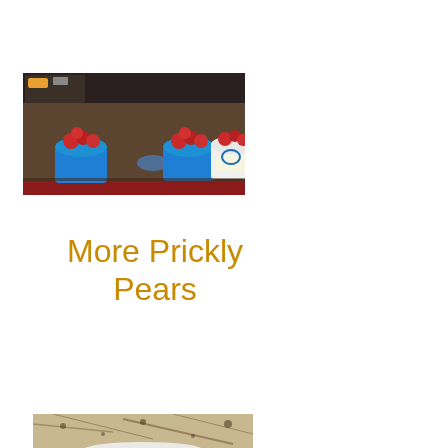[Figure (photo): Three buckets (two blue, one white) filled with red prickly pears sitting in the bed of a red truck/vehicle, viewed from above at an angle.]
More Prickly Pears
[Figure (photo): Partial view of what appears to be a granite or stone countertop surface, partially cropped at the bottom of the page.]